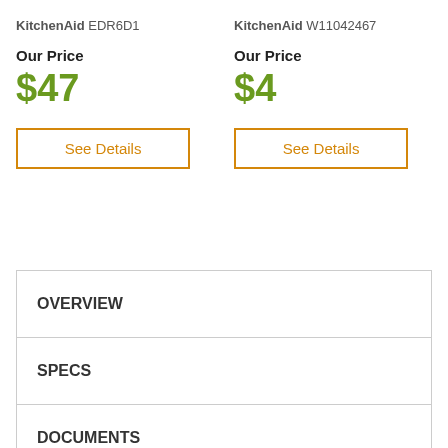KitchenAid EDR6D1
Our Price
$47
See Details
KitchenAid W11042467
Our Price
$4
See Details
OVERVIEW
SPECS
DOCUMENTS
VIDEOS
DELIVERY